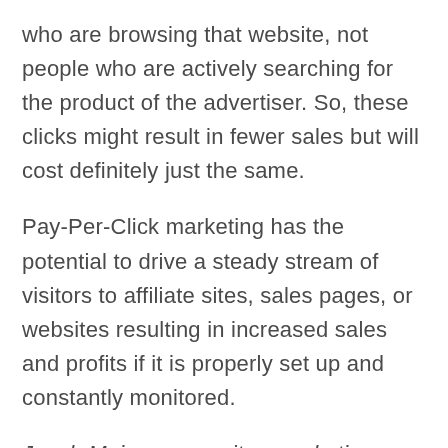who are browsing that website, not people who are actively searching for the product of the advertiser. So, these clicks might result in fewer sales but will cost definitely just the same.
Pay-Per-Click marketing has the potential to drive a steady stream of visitors to affiliate sites, sales pages, or websites resulting in increased sales and profits if it is properly set up and constantly monitored.
Jacob M. is a copywriter, marketing blogger, and inbound marketing consultant.